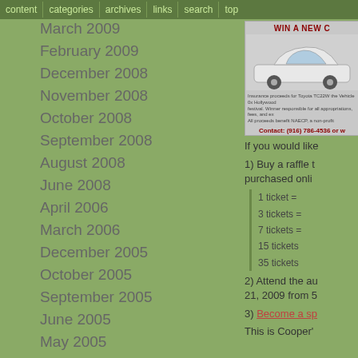content | categories | archives | links | search | top
March 2009
February 2009
December 2008
November 2008
October 2008
September 2008
August 2008
June 2008
April 2006
March 2006
December 2005
October 2005
September 2005
June 2005
May 2005
February 2005
January 2005
December 2004
November 2004
October 2004
September 2004
July 2004
[Figure (photo): WIN A NEW C[ar] - Smart car raffle advertisement with car image and contact information (916) 786-4536]
If you would like
1) Buy a raffle t[icket] purchased onli[ne]
1 ticket = [price]
3 tickets = [price]
7 tickets = [price]
15 tickets [= price]
35 tickets [= price]
2) Attend the au[ction] 21, 2009 from 5[pm]
3) Become a sp[onsor]
This is Cooper'[s]